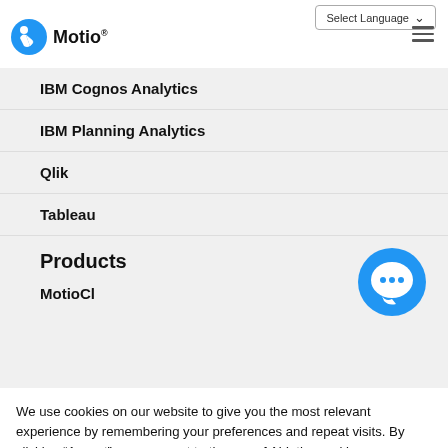Select Language  [Motio logo]  [hamburger menu]
IBM Cognos Analytics
IBM Planning Analytics
Qlik
Tableau
Products
MotioCl
[Figure (illustration): Blue circular chat bubble icon with three dots]
We use cookies on our website to give you the most relevant experience by remembering your preferences and repeat visits. By clicking “Accept”, you consent to the use of ALL the cookies.
Cookie settings   ACCEPT